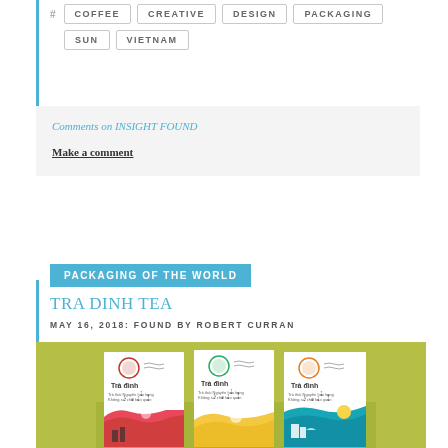# COFFEE  CREATIVE  DESIGN  PACKAGING
SUN  VIETNAM
Comments on INSIGHT FOUND
Make a comment
PACKAGING OF THE WORLD
TRA DINH TEA
MAY 16, 2018: FOUND BY ROBERT CURRAN
[Figure (photo): Three Tra Dinh tea packaging boxes displayed on an olive/lime green background. Each box is white with a circular stamp logo and colorful illustrated landscape scenes — left box has pink/red tones, middle box has yellow/cream tones, right box has teal/blue tones. All boxes read 'Trà đình' with Vietnamese text below.]